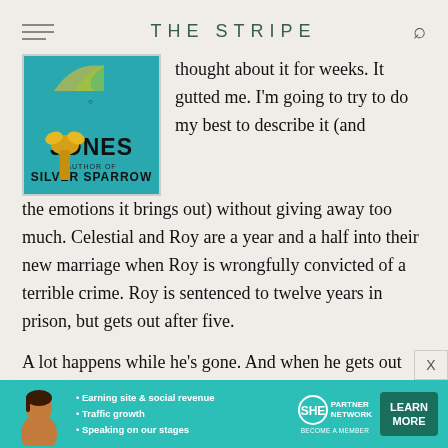THE STRIPE
[Figure (photo): Book cover showing 'JONES' text in large black letters on a teal/cyan background, with 'AUTHOR OF SILVER SPARROW' subtitle and a yellow/gold ribbon decoration]
thought about it for weeks. It gutted me. I'm going to try to do my best to describe it (and the emotions it brings out) without giving away too much. Celestial and Roy are a year and a half into their new marriage when Roy is wrongfully convicted of a terrible crime. Roy is sentenced to twelve years in prison, but gets out after five.
A lot happens while he's gone. And when he gets out early, what is Celestial to do? Let go, or rebuild her marriage? The characters were all so raw and real, eac
[Figure (infographic): Advertisement banner for SHE Partner Network. Features a woman's photo, bullet points: Earning site & social revenue, Traffic growth, Speaking on our stages. SHE PARTNER NETWORK logo, BECOME A MEMBER tagline, and LEARN MORE button in dark green.]